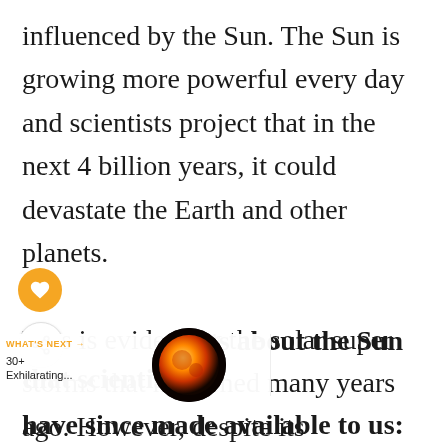influenced by the Sun. The Sun is growing more powerful every day and scientists project that in the next 4 billion years, it could devastate the Earth and other planets.

This is evident by the solar super storms that happened many years ago. However, despite its supremacy and danger, man's quest to find more about it has never died down. Here are 30+ facts about the Sun that scientist have since made available to us: